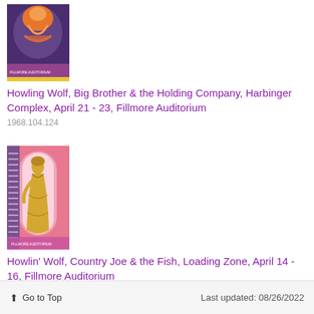[Figure (illustration): Concert poster thumbnail for Howling Wolf, Big Brother & the Holding Company - colorful psychedelic design with orange figure on purple/blue background]
Howling Wolf, Big Brother & the Holding Company, Harbinger Complex, April 21 - 23, Fillmore Auditorium
1968.104.124
[Figure (illustration): Concert poster thumbnail for Howlin' Wolf, Country Joe & the Fish - Art Nouveau style with woman in gold dress on pink/purple background]
Howlin' Wolf, Country Joe & the Fish, Loading Zone, April 14 - 16, Fillmore Auditorium
1968.104.125
↑ Go to Top    Last updated: 08/26/2022